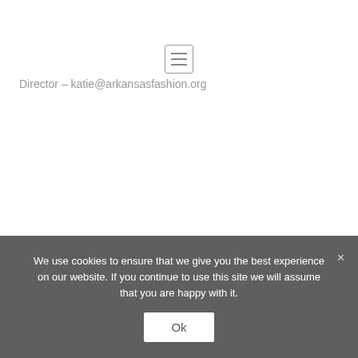[Figure (other): Hamburger menu icon button — three horizontal lines inside a rounded square border]
Director – katie@arkansasfashion.org
Search
We use cookies to ensure that we give you the best experience on our website. If you continue to use this site we will assume that you are happy with it.
Ok